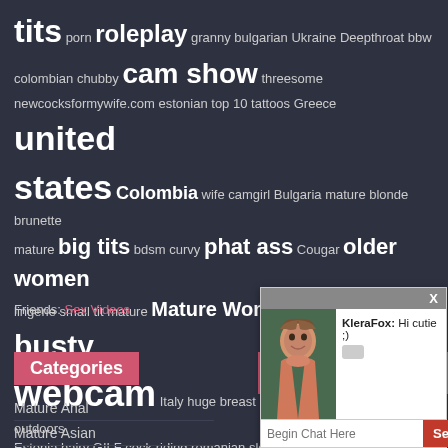tits porn roleplay granny bulgarian Ukraine Deepthroat bbw colombian chubby cam show threesome newcocksformywife.com estonian top 10 tattoos Greece united states Colombia wife camgirl Bulgaria mature blonde brunette mature big tits bdsm curvy phat ass Cougar older women lingerie small tit mature Mature Women doggystyle busty webcam Italy huge breast NSFW big ass big breast outdoors Estonia hairy GILF cock riding romanian slender tight ass spanking brunette High Heels huge boobs big breasts
Friends: Sex Videos
Categories
Mature Anal
Mature Asian
Mature Big Tits
[Figure (screenshot): Chat popup overlay showing a woman's photo with username KleraFox saying 'Hi cutie ;)' and a chat input field with Send button]